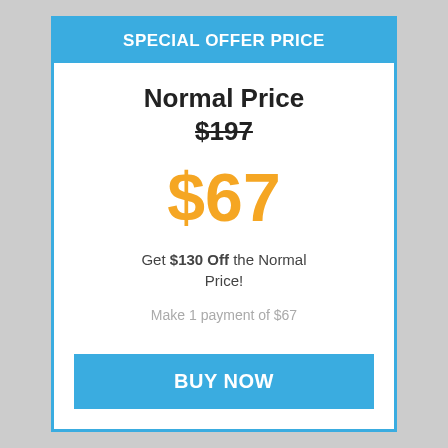SPECIAL OFFER PRICE
Normal Price
$197
$67
Get $130 Off the Normal Price!
Make 1 payment of $67
BUY NOW